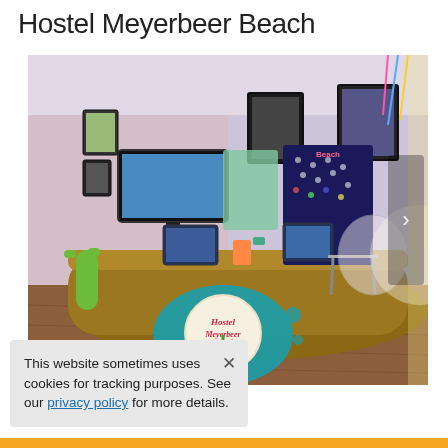Hostel Meyerbeer Beach
[Figure (photo): Interior of Hostel Meyerbeer Beach reception area with colorful decorations, TV, computers on desk, artwork on walls, wooden floor, and the hostel logo (a teal paint splash with 'Hostel Meyerbeer' text) visible on the front desk. A navigation arrow is visible on the right side.]
This website sometimes uses cookies for tracking purposes. See our privacy policy for more details.